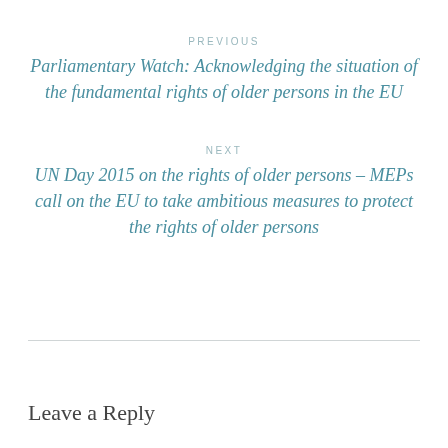PREVIOUS
Parliamentary Watch: Acknowledging the situation of the fundamental rights of older persons in the EU
NEXT
UN Day 2015 on the rights of older persons – MEPs call on the EU to take ambitious measures to protect the rights of older persons
Leave a Reply